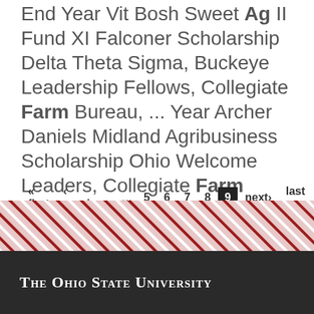End Year Vit Bosh Sweet Ag II Fund XI Falconer Scholarship   Delta Theta Sigma, Buckeye Leadership Fellows, Collegiate Farm Bureau, ... Year Archer Daniels Midland Agribusiness Scholarship Ohio Welcome Leaders, Collegiate Farm Bureau, ...
« first ‹ previous … 5 6 7 8 9 next › last »  12 13 …
[Figure (illustration): Diagonal red and white stripes banner — Ohio State University decorative footer stripe pattern]
The Ohio State University